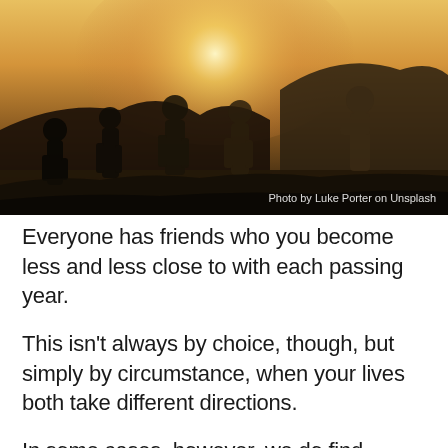[Figure (photo): A group of people standing outdoors at sunset, viewed from behind, with hills in the background. Golden warm light. Photo credit reads 'Photo by Luke Porter on Unsplash'.]
Photo by Luke Porter on Unsplash
Everyone has friends who you become less and less close to with each passing year.
This isn't always by choice, though, but simply by circumstance, when your lives both take different directions.
In some cases, however, we do find ourselves making a very conscious decision to stop